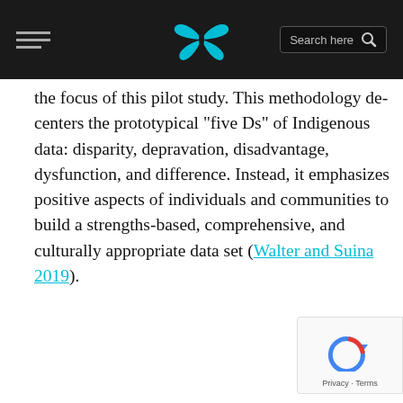Search here [hamburger menu, butterfly logo, search bar]
the focus of this pilot study. This methodology decenters the prototypical “five Ds” of Indigenous data: disparity, depravation, disadvantage, dysfunction, and difference. Instead, it emphasizes positive aspects of individuals and communities to build a strengths-based, comprehensive, and culturally appropriate data set (Walter and Suina 2019).
[Figure (logo): reCAPTCHA badge with refresh icon and Privacy/Terms links]